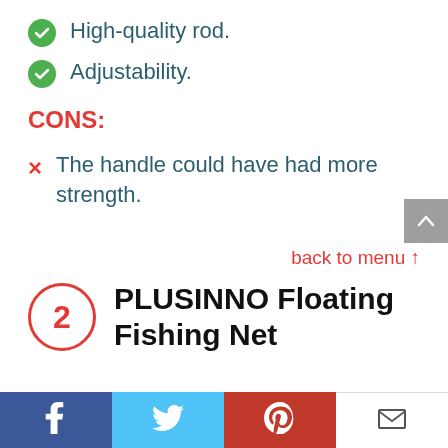High-quality rod.
Adjustability.
CONS:
The handle could have had more strength.
back to menu ↑
2 PLUSINNO Floating Fishing Net
Facebook | Twitter | Pinterest | Email